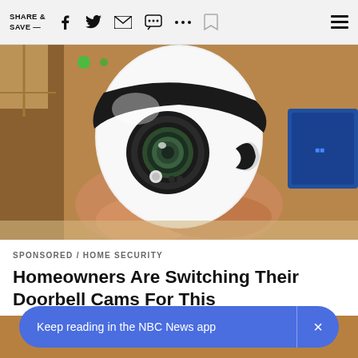SHARE & SAVE —
[Figure (photo): A hand holding a white spherical security camera with a camera lens visible, photographed up close against a blurred background.]
SPONSORED / HOME SECURITY
Homeowners Are Switching Their Doorbell Cams For This
[Figure (photo): Partial view of a second image below the article title, showing a hand and metallic object.]
Keep reading in the NBC News app